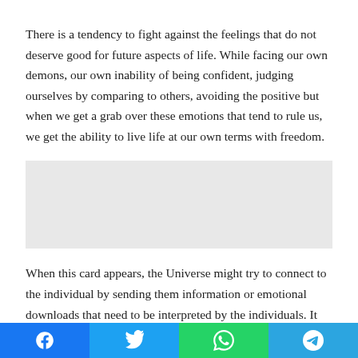There is a tendency to fight against the feelings that do not deserve good for future aspects of life. While facing our own demons, our own inability of being confident, judging ourselves by comparing to others, avoiding the positive but when we get a grab over these emotions that tend to rule us, we get the ability to live life at our own terms with freedom.
[Figure (other): Gray advertisement/placeholder box]
When this card appears, the Universe might try to connect to the individual by sending them information or emotional downloads that need to be interpreted by the individuals. It can be difficult at times to find the real meaning behind the
Social share bar with Facebook, Twitter, WhatsApp, Telegram buttons